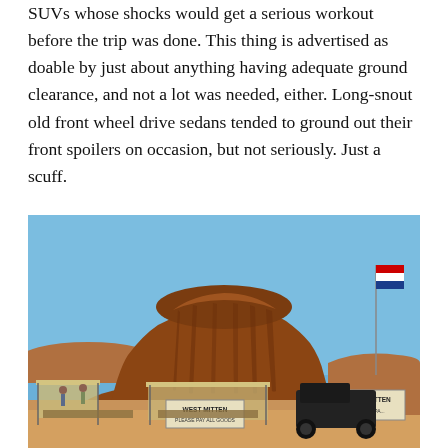SUVs whose shocks would get a serious workout before the trip was done. This thing is advertised as doable by just about anything having adequate ground clearance, and not a lot was needed, either. Long-snout old front wheel drive sedans tended to ground out their front spoilers on occasion, but not seriously. Just a scuff.
[Figure (photo): Photo of a large red sandstone butte (Monument Valley's West Mitten Butte) against a bright blue sky. In the foreground, there are vendor stalls and a dark pickup truck. Signs read 'WEST MITTEN PLEASE PAY ALL GOODS' and 'EAST MITTEN PLEASE PA...' A flag with red, white, and blue stripes flies on a pole near the right side.]